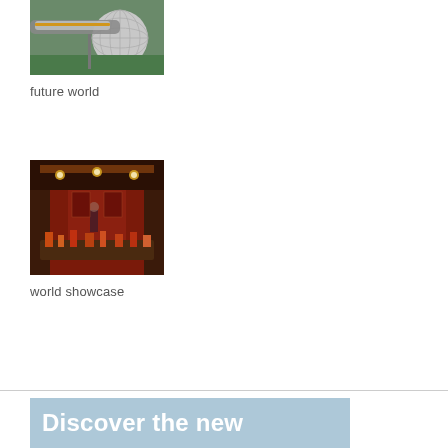[Figure (photo): Photo of a futuristic geodesic sphere (Spaceship Earth at EPCOT) with a monorail passing in front, surrounded by trees]
future world
[Figure (photo): Photo of an ornate, warmly lit bazaar or marketplace interior with red and gold decor, lanterns, and merchandise displays]
world showcase
[Figure (infographic): Partial banner image with light blue background and large white bold text reading 'Discover the new']